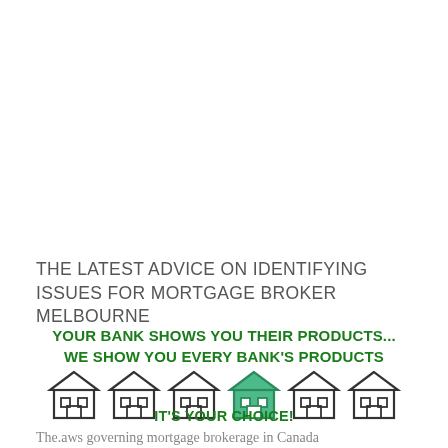THE LATEST ADVICE ON IDENTIFYING ISSUES FOR MORTGAGE BROKER MELBOURNE
YOUR BANK SHOWS YOU THEIR PRODUCTS... WE SHOW YOU EVERY BANK'S PRODUCTS
[Figure (illustration): Six house icons in a row; the middle (fourth) house is filled with green/teal color, the others are black outline only]
IT'S YOUR CHOICE!
The.aws governing mortgage brokerage in Canada